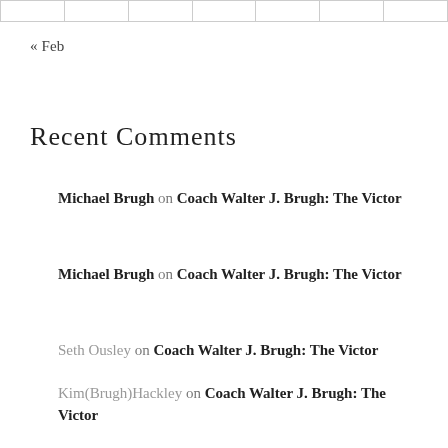|  |   |   |   |   |   |   |
« Feb
Recent Comments
Michael Brugh on Coach Walter J. Brugh: The Victor
Michael Brugh on Coach Walter J. Brugh: The Victor
Seth Ousley on Coach Walter J. Brugh: The Victor
Kim(Brugh)Hackley on Coach Walter J. Brugh: The Victor